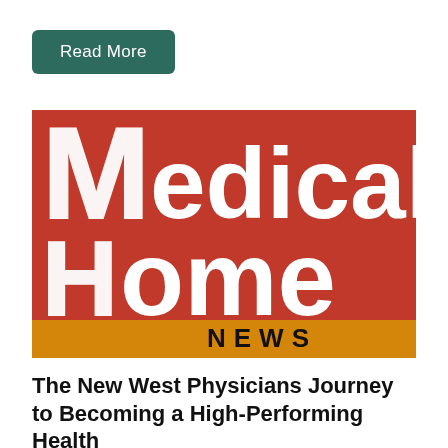Read More
[Figure (logo): Medical Home News logo — red background with large white 'Medical Home' text and an orange/gold banner at the bottom with black 'NEWS' text]
The New West Physicians Journey to Becoming a High-Performing Health